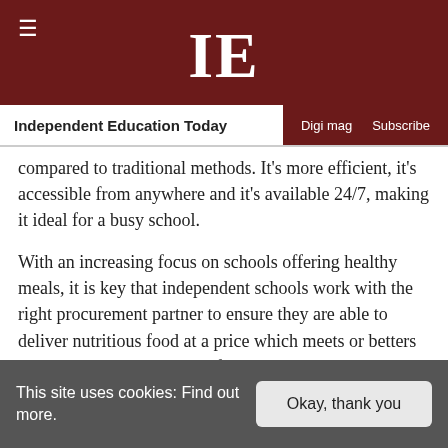IE — Independent Education Today | Digi mag | Subscribe
compared to traditional methods. It's more efficient, it's accessible from anywhere and it's available 24/7, making it ideal for a busy school.
With an increasing focus on schools offering healthy meals, it is key that independent schools work with the right procurement partner to ensure they are able to deliver nutritious food at a price which meets or betters their budget. It's true that a few years ago sophisticated web-based systems were only for large-scale universities and colleges, but now such systems are completely inclusive and available to all size and types of educational institutions, including
This site uses cookies: Find out more. | Okay, thank you